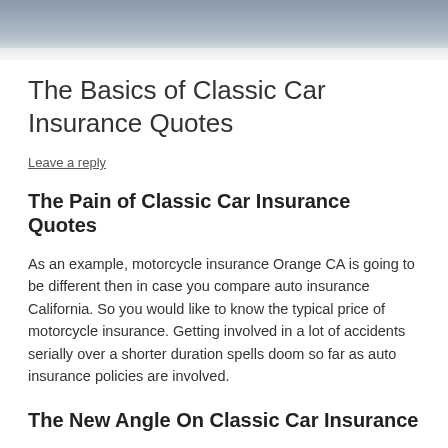[Figure (photo): Partial view of a car roof against a gray sky, cropped at top of page]
The Basics of Classic Car Insurance Quotes
Leave a reply
The Pain of Classic Car Insurance Quotes
As an example, motorcycle insurance Orange CA is going to be different then in case you compare auto insurance California. So you would like to know the typical price of motorcycle insurance. Getting involved in a lot of accidents serially over a shorter duration spells doom so far as auto insurance policies are involved.
The New Angle On Classic Car Insurance